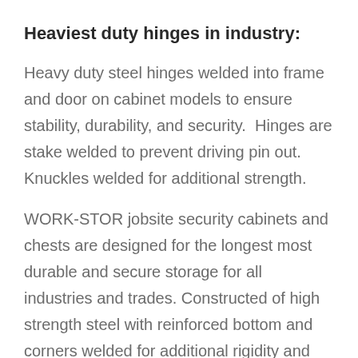Heaviest duty hinges in industry:
Heavy duty steel hinges welded into frame and door on cabinet models to ensure stability, durability, and security.  Hinges are stake welded to prevent driving pin out. Knuckles welded for additional strength.
WORK-STOR jobsite security cabinets and chests are designed for the longest most durable and secure storage for all industries and trades. Constructed of high strength steel with reinforced bottom and corners welded for additional rigidity and durability. Functionality